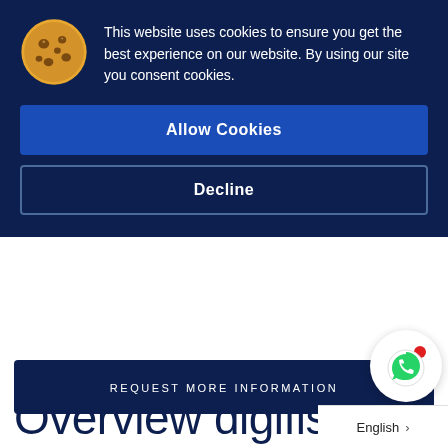This website uses cookies to ensure you get the best experience on our website. By using our site you consent cookies.
Allow Cookies
Decline
REQUEST MORE INFORMATION
Overview digifis